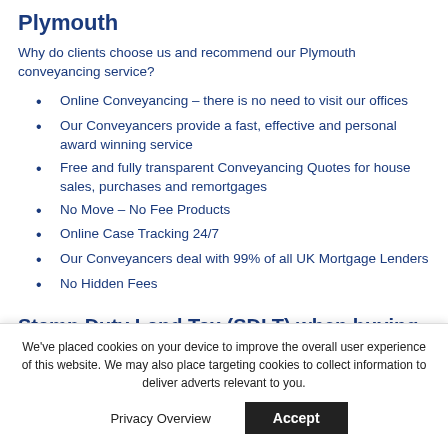Plymouth
Why do clients choose us and recommend our Plymouth conveyancing service?
Online Conveyancing – there is no need to visit our offices
Our Conveyancers provide a fast, effective and personal award winning service
Free and fully transparent Conveyancing Quotes for house sales, purchases and remortgages
No Move – No Fee Products
Online Case Tracking 24/7
Our Conveyancers deal with 99% of all UK Mortgage Lenders
No Hidden Fees
Stamp Duty Land Tax (SDLT) when buying a property in Plymouth
We've placed cookies on your device to improve the overall user experience of this website. We may also place targeting cookies to collect information to deliver adverts relevant to you.